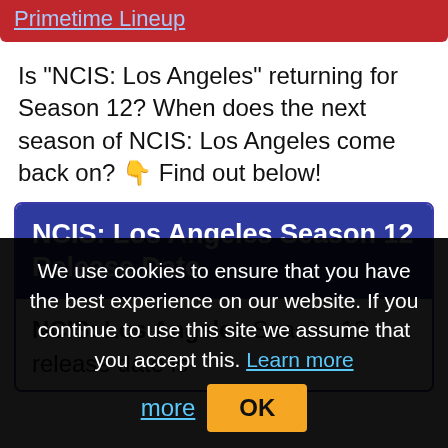Primetime Lineup
Is "NCIS: Los Angeles" returning for Season 12? When does the next season of NCIS: Los Angeles come back on? 👇 Find out below!
NCIS: Los Angeles Season 12 Release Date
NCIS: Los Angeles Season 12 release date is
We use cookies to ensure that you have the best experience on our website. If you continue to use this site we assume that you accept this. Learn more OK